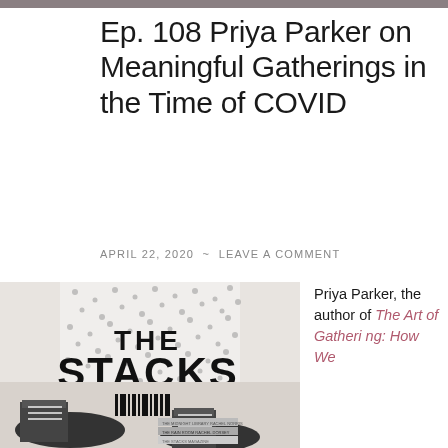Ep. 108 Priya Parker on Meaningful Gatherings in the Time of COVID
APRIL 22, 2020 ~ LEAVE A COMMENT
[Figure (photo): The Stacks podcast logo/image: person wearing patterned dress and Converse sneakers, with 'THE STACKS' text overlay in bold black font, barcode graphic, and stacked books at bottom]
Priya Parker, the author of The Art of Gathering: How We